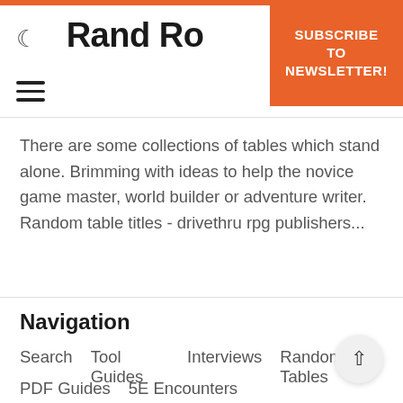Rand Ro
SUBSCRIBE TO NEWSLETTER!
There are some collections of tables which stand alone. Brimming with ideas to help the novice game master, world builder or adventure writer. Random table titles - drivethru rpg publishers...
Navigation
Search
Tool Guides
Interviews
Random Tables
PDF Guides
5E Encounters
Useful links
DM's Guild PDFs
Itch PDFs
Discord
Twitter